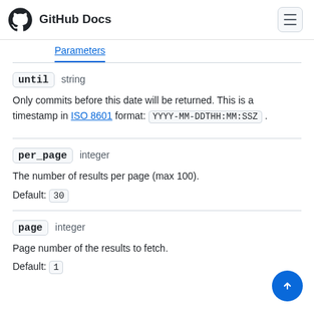GitHub Docs
until  string
Only commits before this date will be returned. This is a timestamp in ISO 8601 format: YYYY-MM-DDTHH:MM:SSZ .
per_page  integer
The number of results per page (max 100).
Default: 30
page  integer
Page number of the results to fetch.
Default: 1